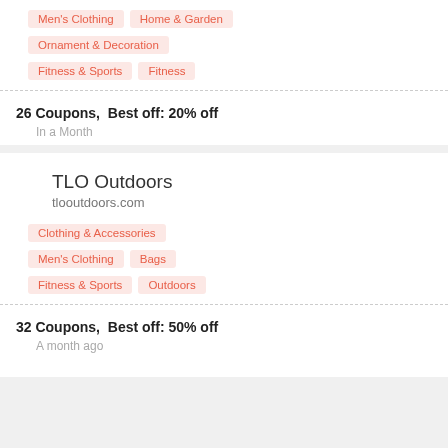Men's Clothing
Home & Garden
Ornament & Decoration
Fitness & Sports
Fitness
26 Coupons,  Best off: 20% off
In a Month
TLO Outdoors
tlooutdoors.com
Clothing & Accessories
Men's Clothing
Bags
Fitness & Sports
Outdoors
32 Coupons,  Best off: 50% off
A month ago